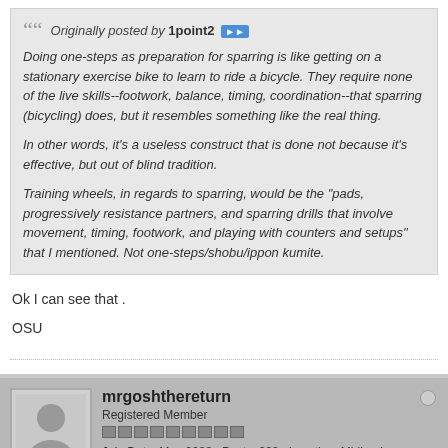Originally posted by 1point2 [forward button]
Doing one-steps as preparation for sparring is like getting on a stationary exercise bike to learn to ride a bicycle. They require none of the live skills--footwork, balance, timing, coordination--that sparring (bicycling) does, but it resembles something like the real thing.

In other words, it's a useless construct that is done not because it's effective, but out of blind tradition.

Training wheels, in regards to sparring, would be the "pads, progressively resistance partners, and sparring drills that involve movement, timing, footwork, and playing with counters and setups" that I mentioned. Not one-steps/shobu/ippon kumite.
Ok I can see that .
OSU
mrgoshthereturn
Registered Member
Join Date: May 2008  Posts: 208  Location: Midlands, England
Style: shotokai/bji/MT/ox RRT